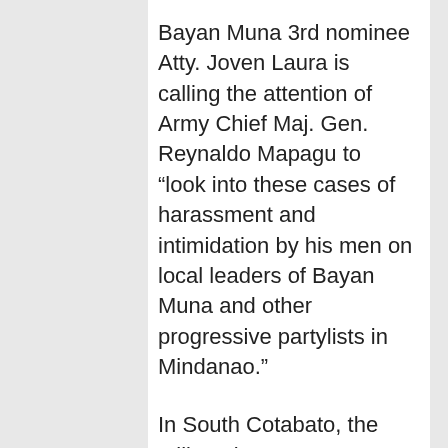Bayan Muna 3rd nominee Atty. Joven Laura is calling the attention of Army Chief Maj. Gen. Reynaldo Mapagu to “look into these cases of harassment and intimidation by his men on local leaders of Bayan Muna and other progressive partylists in Mindanao.”
In South Cotabato, the military is a step more blatant in their partisan activities. The 27th Infantry Battalion of the